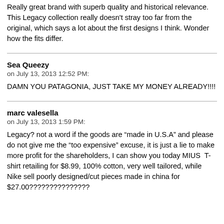Really great brand with superb quality and historical relevance. This Legacy collection really doesn't stray too far from the original, which says a lot about the first designs I think. Wonder how the fits differ.
Sea Queezy
on July 13, 2013 12:52 PM:
DAMN YOU PATAGONIA, JUST TAKE MY MONEY ALREADY!!!!
marc valesella
on July 13, 2013 1:59 PM:
Legacy? not a word if the goods are “made in U.S.A” and please do not give me the “too expensive” excuse, it is just a lie to make more profit for the shareholders, I can show you today MIUS T-shirt retailing for $8.99, 100% cotton, very well tailored, while Nike sell poorly designed/cut pieces made in china for $27.00???????????????